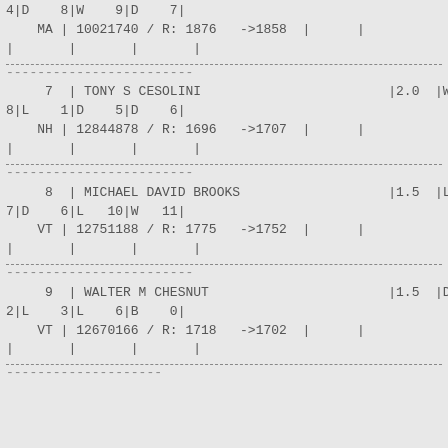4|D   8|W   9|D   7|
    MA | 10021740 / R: 1876   ->1858  |      |
|       |       |       |
7  | TONY S CESOLINI                        |2.0  |W 8|L   1|D   5|D   6|
    NH | 12844878 / R: 1696   ->1707  |      |
|       |       |       |
8  | MICHAEL DAVID BROOKS                  |1.5  |L 7|D   6|L  10|W  11|
    VT | 12751188 / R: 1775   ->1752  |      |
|       |       |       |
9  | WALTER M CHESNUT                      |1.5  |D 2|L   3|L   6|B   0|
    VT | 12670166 / R: 1718   ->1702  |      |
|       |       |       |